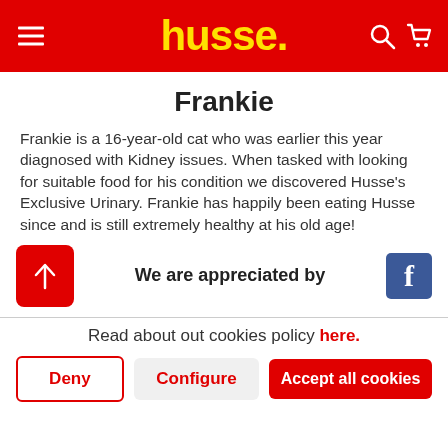husse.
Frankie
Frankie is a 16-year-old cat who was earlier this year diagnosed with Kidney issues. When tasked with looking for suitable food for his condition we discovered Husse's Exclusive Urinary. Frankie has happily been eating Husse since and is still extremely healthy at his old age!
We are appreciated by
Read about out cookies policy here.
Deny
Configure
Accept all cookies